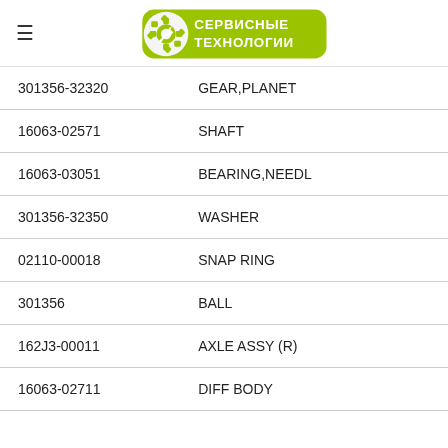СЕРВИСНЫЕ ТЕХНОЛОГИИ
| Part Number | Description |
| --- | --- |
| 301356-32320 | GEAR,PLANET |
| 16063-02571 | SHAFT |
| 16063-03051 | BEARING,NEEDL |
| 301356-32350 | WASHER |
| 02110-00018 | SNAP RING |
| 301356 | BALL |
| 162J3-00011 | AXLE ASSY (R) |
| 16063-02711 | DIFF BODY |